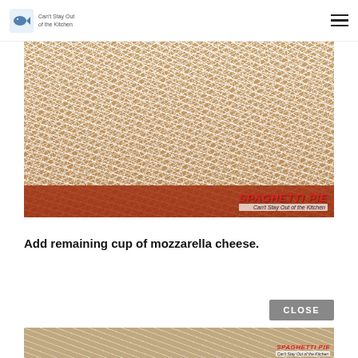Can't Stay Out of the Kitchen
[Figure (photo): A baking dish of Spaghetti Pie topped with shredded mozzarella cheese, with red sauce visible at the bottom edge. Watermark text reads 'SPAGHETTI PIE' and 'Can't Stay Out of the Kitchen'.]
Add remaining cup of mozzarella cheese.
[Figure (photo): Partially visible second photo of Spaghetti Pie with watermark text 'SPAGHETTI PIE' and 'Can't Stay Out of the Kitchen'.]